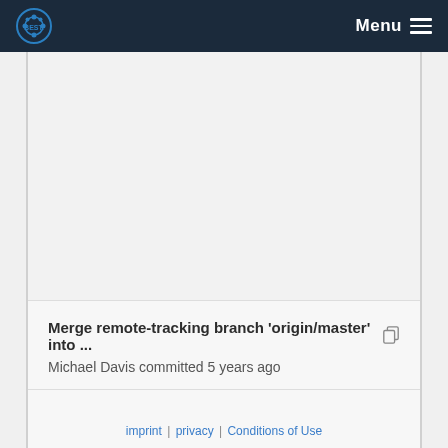Menu
Merge remote-tracking branch 'origin/master' into ... Michael Davis committed 5 years ago
imprint | privacy | Conditions of Use